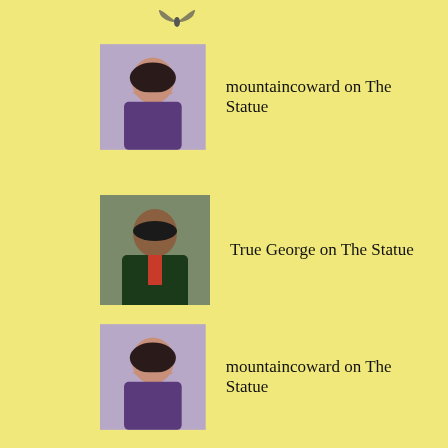[Figure (illustration): Small bird/twitter icon at top]
mountaincoward on The Statue
True George on The Statue
mountaincoward on The Statue
True George on The Statue
FOLLOW TRUE_GEORGE ON TWITTER
Tweets from @true_george
george